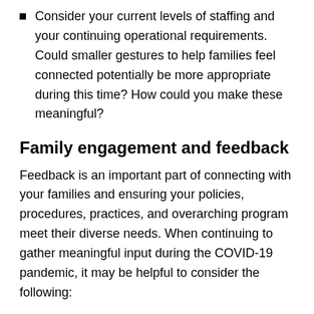Consider your current levels of staffing and your continuing operational requirements. Could smaller gestures to help families feel connected potentially be more appropriate during this time? How could you make these meaningful?
Family engagement and feedback
Feedback is an important part of connecting with your families and ensuring your policies, procedures, practices, and overarching program meet their diverse needs. When continuing to gather meaningful input during the COVID-19 pandemic, it may be helpful to consider the following:
Consider what strategies successfully encouraged collaboration in the past and how you found out what works best for families when asking for feedback. How